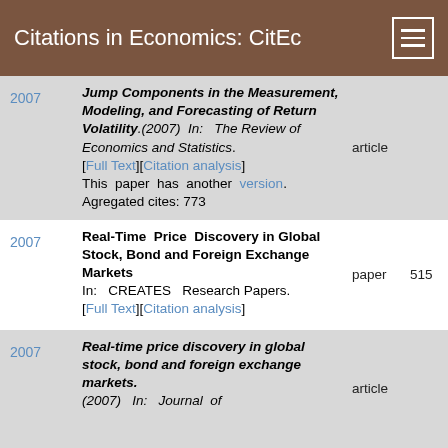Citations in Economics: CitEc
Jump Components in the Measurement, Modeling, and Forecasting of Return Volatility.(2007) In: The Review of Economics and Statistics. [Full Text][Citation analysis] This paper has another version. Agregated cites: 773 | 2007 | article
Real-Time Price Discovery in Global Stock, Bond and Foreign Exchange Markets In: CREATES Research Papers. [Full Text][Citation analysis] | 2007 | paper | 515
Real-time price discovery in global stock, bond and foreign exchange markets.(2007) In: Journal of ... | 2007 | article